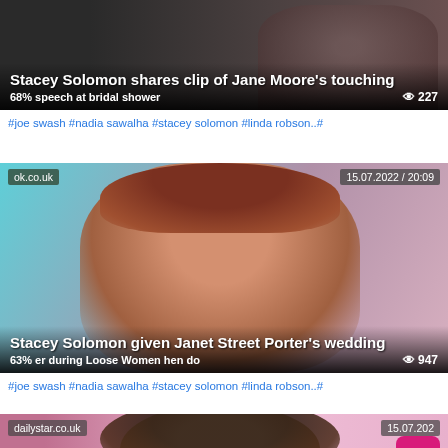[Figure (screenshot): Article card with dark background showing a headline about Stacey Solomon sharing a clip of Jane Moore's touching speech at bridal shower, with 68% and 227 views]
#joe swash  #nadia sawalha  #stacey solomon  #linda robson..#
[Figure (screenshot): Article card from ok.co.uk dated 15.07.2022 / 20:09 showing a woman smiling, headline: Stacey Solomon given Janet Street Porter's wedding garter during Loose Women hen do, 63% and 947 views]
#joe swash  #nadia sawalha  #stacey solomon  #linda robson..#
[Figure (screenshot): Partial article card from dailystar.co.uk dated 15.07.202 showing a woman with curly hair, with back-to-top button]